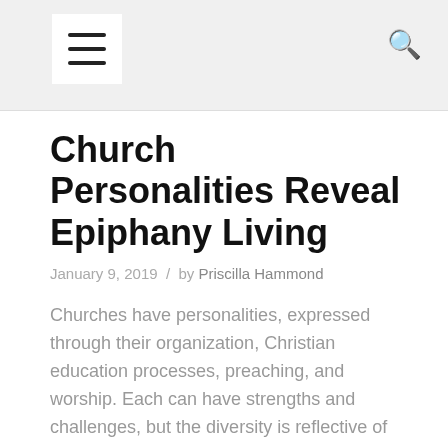☰  🔍
Church Personalities Reveal Epiphany Living
January 9, 2019  /  by Priscilla Hammond
Churches have personalities, expressed through their organization, Christian education processes, preaching, and worship. Each can have strengths and challenges, but the diversity is reflective of the differences we see in people, including the Apostles.
Instead of focusing on which organizational structure or form of worship we